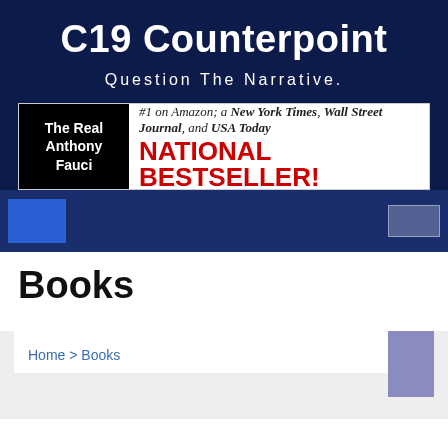C19 Counterpoint
Question The Narrative.
[Figure (infographic): Book advertisement banner: 'The Real Anthony Fauci' book on left in black box, with text '#1 on Amazon; a New York Times, Wall Street Journal, and USA Today NATIONAL BESTSELLER!']
Books
Home > Books